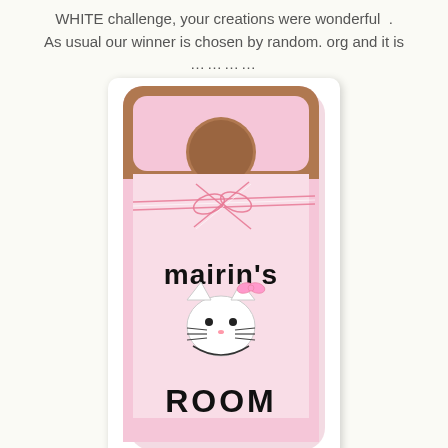WHITE challenge, your creations were wonderful  .
As usual our winner is chosen by random. org and it is
…………
[Figure (photo): A pink door hanger with a circular hole at the top, decorated with pink and white baker's twine tied in a bow around the middle. The lower portion reads 'mairin's ROOM' with a Hello Kitty graphic in between. The hanger is pink with rounded corners and sits on a wooden surface.]
michelle
CONGRATULATIONS